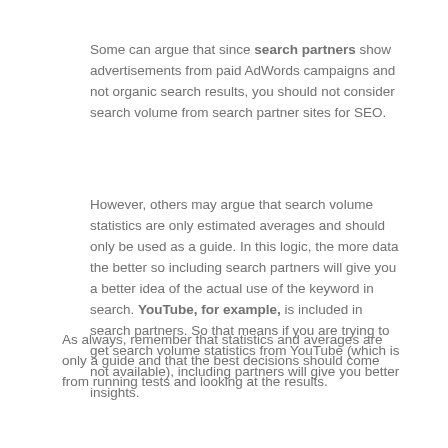Some can argue that since search partners show advertisements from paid AdWords campaigns and not organic search results, you should not consider search volume from search partner sites for SEO.
However, others may argue that search volume statistics are only estimated averages and should only be used as a guide. In this logic, the more data the better so including search partners will give you a better idea of the actual use of the keyword in search. YouTube, for example, is included in search partners. So that means if you are trying to get search volume statistics from YouTube (which is not available), including partners will give you better insights.
As always, remember that statistics and averages are only a guide and that the best decisions should come from running tests and looking at the results.